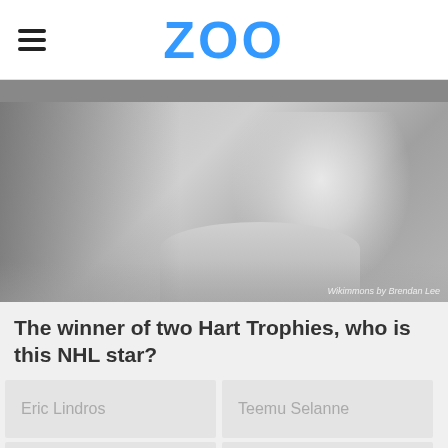ZOO
[Figure (photo): Grayscale photo of an older man smiling, with crowd in background. Photo credit: Wikimmons by Brendan Lee]
Wikimmons by Brendan Lee
The winner of two Hart Trophies, who is this NHL star?
Eric Lindros
Teemu Selanne
Mark Messier
Ron Francis